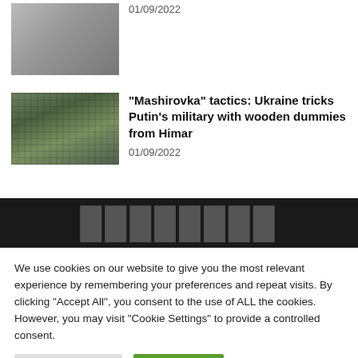[Figure (photo): Photo of a person, partially visible, top of page]
01/09/2022
[Figure (photo): Military vehicle/missile launcher with soldiers in green landscape]
“Mashirovka” tactics: Ukraine tricks Putin’s military with wooden dummies from Himar
01/09/2022
[Figure (other): Dark banner with large partially visible logo text]
We use cookies on our website to give you the most relevant experience by remembering your preferences and repeat visits. By clicking “Accept All”, you consent to the use of ALL the cookies. However, you may visit "Cookie Settings" to provide a controlled consent.